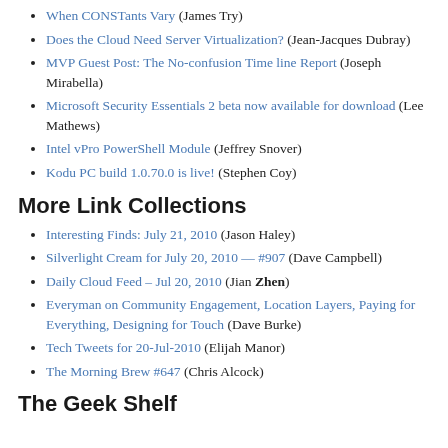When CONSTants Vary (James Try)
Does the Cloud Need Server Virtualization? (Jean-Jacques Dubray)
MVP Guest Post: The No-confusion Time line Report (Joseph Mirabella)
Microsoft Security Essentials 2 beta now available for download (Lee Mathews)
Intel vPro PowerShell Module (Jeffrey Snover)
Kodu PC build 1.0.70.0 is live! (Stephen Coy)
More Link Collections
Interesting Finds: July 21, 2010 (Jason Haley)
Silverlight Cream for July 20, 2010 — #907 (Dave Campbell)
Daily Cloud Feed – Jul 20, 2010 (Jian Zhen)
Everyman on Community Engagement, Location Layers, Paying for Everything, Designing for Touch (Dave Burke)
Tech Tweets for 20-Jul-2010 (Elijah Manor)
The Morning Brew #647 (Chris Alcock)
The Geek Shelf